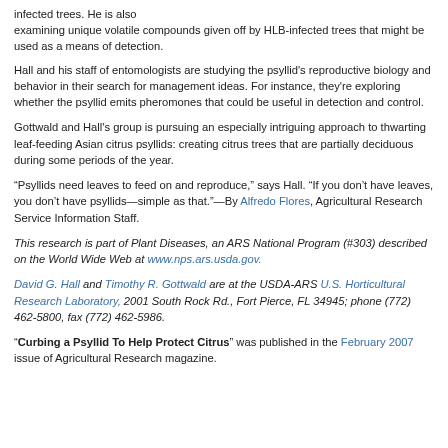infected trees. He is also examining unique volatile compounds given off by HLB-infected trees that might be used as a means of detection.
Hall and his staff of entomologists are studying the psyllid's reproductive biology and behavior in their search for management ideas. For instance, they're exploring whether the psyllid emits pheromones that could be useful in detection and control.
Gottwald and Hall's group is pursuing an especially intriguing approach to thwarting leaf-feeding Asian citrus psyllids: creating citrus trees that are partially deciduous during some periods of the year.
“Psyllids need leaves to feed on and reproduce,” says Hall. “If you don’t have leaves, you don’t have psyllids—simple as that.”—By Alfredo Flores, Agricultural Research Service Information Staff.
This research is part of Plant Diseases, an ARS National Program (#303) described on the World Wide Web at www.nps.ars.usda.gov.
David G. Hall and Timothy R. Gottwald are at the USDA-ARS U.S. Horticultural Research Laboratory, 2001 South Rock Rd., Fort Pierce, FL 34945; phone (772) 462-5800, fax (772) 462-5986.
“Curbing a Psyllid To Help Protect Citrus” was published in the February 2007 issue of Agricultural Research magazine.